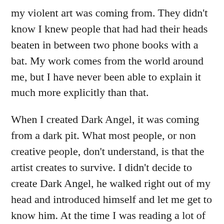my violent art was coming from. They didn't know I knew people that had had their heads beaten in between two phone books with a bat. My work comes from the world around me, but I have never been able to explain it much more explicitly than that.

When I created Dark Angel, it was coming from a dark pit. What most people, or non creative people, don't understand, is that the artist creates to survive. I didn't decide to create Dark Angel, he walked right out of my head and introduced himself and let me get to know him. At the time I was reading a lot of Eugene Izzi, (he was murdered several years back, he was found hanging by the neck